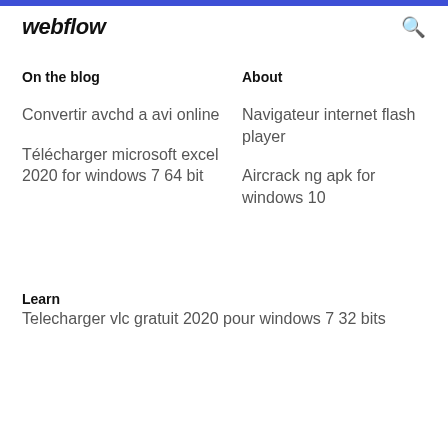webflow
On the blog
About
Convertir avchd a avi online
Navigateur internet flash player
Télécharger microsoft excel 2020 for windows 7 64 bit
Aircrack ng apk for windows 10
Learn
Telecharger vlc gratuit 2020 pour windows 7 32 bits